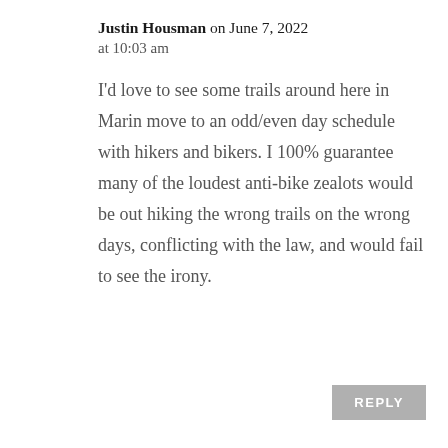Justin Housman on June 7, 2022 at 10:03 am
I'd love to see some trails around here in Marin move to an odd/even day schedule with hikers and bikers. I 100% guarantee many of the loudest anti-bike zealots would be out hiking the wrong trails on the wrong days, conflicting with the law, and would fail to see the irony.
REPLY